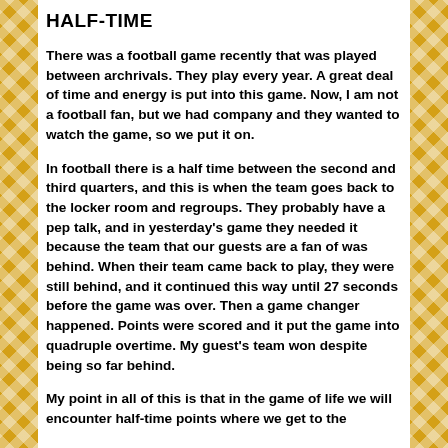HALF-TIME
There was a football game recently that was played between archrivals. They play every year. A great deal of time and energy is put into this game. Now, I am not a football fan, but we had company and they wanted to watch the game, so we put it on.
In football there is a half time between the second and third quarters, and this is when the team goes back to the locker room and regroups. They probably have a pep talk, and in yesterday’s game they needed it because the team that our guests are a fan of was behind. When their team came back to play, they were still behind, and it continued this way until 27 seconds before the game was over. Then a game changer happened. Points were scored and it put the game into quadruple overtime. My guest’s team won despite being so far behind.
My point in all of this is that in the game of life we will encounter half-time points where we get to the...